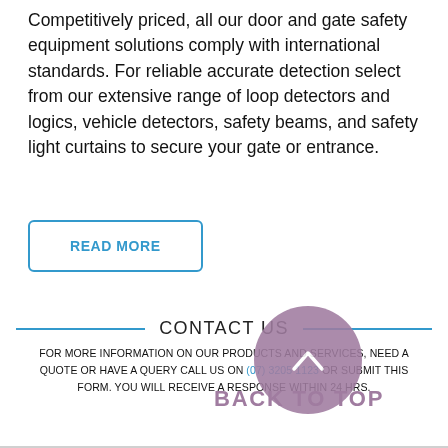Competitively priced, all our door and gate safety equipment solutions comply with international standards. For reliable accurate detection select from our extensive range of loop detectors and logics, vehicle detectors, safety beams, and safety light curtains to secure your gate or entrance.
READ MORE
CONTACT US
FOR MORE INFORMATION ON OUR PRODUCTS AND SERVICES, NEED A QUOTE OR HAVE A QUERY CALL US ON (07) 3205 1123 OR SUBMIT THIS FORM. YOU WILL RECEIVE A RESPONSE WITHIN 24 HRS.
BACK TO TOP